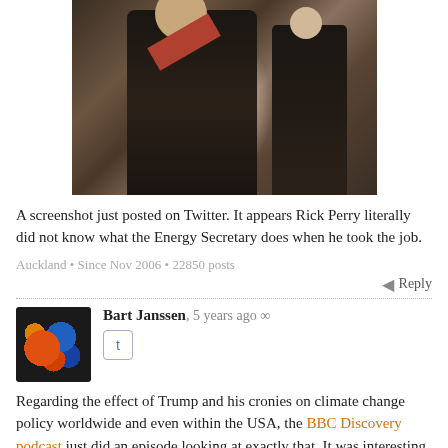[Figure (photo): Photo of Donald Trump in a dark suit with a red tie, waving, walking through what appears to be a marble lobby, accompanied by another man in a dark suit]
A screenshot just posted on Twitter. It appears Rick Perry literally did not know what the Energy Secretary does when he took the job.
Auckland • Since Nov 2006 • 22850 posts
Reply
Bart Janssen, 5 years ago ∞
Regarding the effect of Trump and his cronies on climate change policy worldwide and even within the USA, the BBC Discovery podcast just did an episode looking at exactly that. It was interesting in that most people interviewed seemed to feel that the momentum towards clean energy and the desire to reduce CO2 emissions is too great for